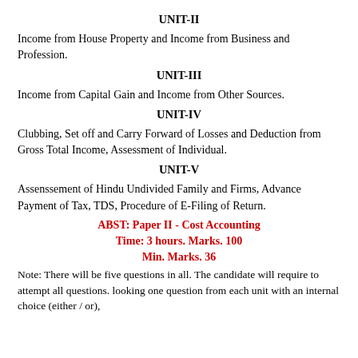UNIT-II
Income from House Property and Income from Business and Profession.
UNIT-III
Income from Capital Gain and Income from Other Sources.
UNIT-IV
Clubbing, Set off and Carry Forward of Losses and Deduction from Gross Total Income, Assessment of Individual.
UNIT-V
Assenssement of Hindu Undivided Family and Firms, Advance Payment of Tax, TDS, Procedure of E-Filing of Return.
ABST: Paper II - Cost Accounting
Time: 3 hours. Marks. 100
Min. Marks. 36
Note: There will be five questions in all. The candidate will require to attempt all questions. looking one question from each unit with an internal choice (either / or),